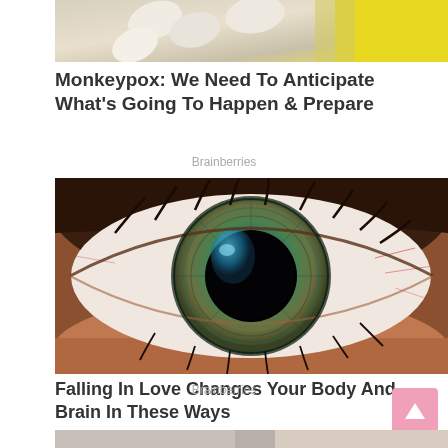[Figure (photo): Partial top of image — flowers/pills visible, yellow and white background, top of page]
Monkeypox: We Need To Anticipate What's Going To Happen & Prepare
Brainberries
[Figure (photo): Extreme close-up macro photograph of a human eye with stunning teal/green iris, prominent black pupil with light reflection, bloodshot veins in white sclera, detailed eyelashes and skin texture]
Falling In Love Changes Your Body And Brain In These Ways
Brainberries
[Figure (photo): Partially visible third article image at the bottom of the page]